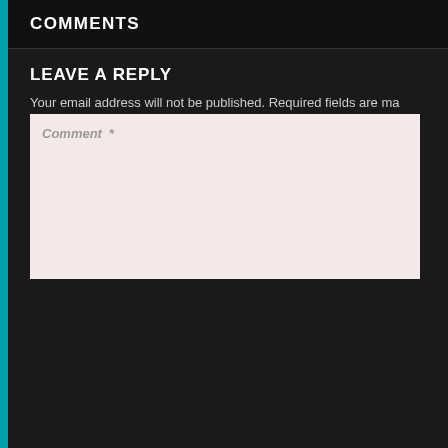COMMENTS
LEAVE A REPLY
Your email address will not be published. Required fields are ma
[Figure (screenshot): Web comment form with fields: Comment*, Name*, Email*, Website, and POST COMMENT button on dark background]